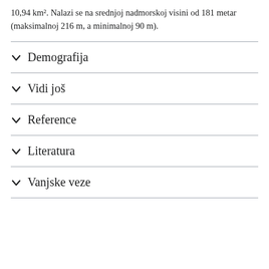10,94 km². Nalazi se na srednjoj nadmorskoj visini od 181 metar (maksimalnoj 216 m, a minimalnoj 90 m).
Demografija
Vidi još
Reference
Literatura
Vanjske veze